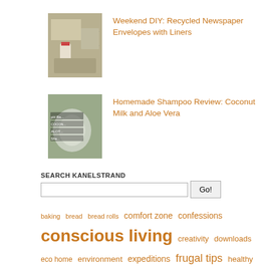[Figure (photo): Thumbnail image of craft supplies including scissors, glue, and newspaper for DIY envelope project]
Weekend DIY: Recycled Newspaper Envelopes with Liners
[Figure (photo): Thumbnail image of a glass bowl with text overlay mentioning pH balanced coconut aloe shampoo]
Homemade Shampoo Review: Coconut Milk and Aloe Vera
SEARCH KANELSTRAND
baking bread bread rolls comfort zone confessions conscious living creativity downloads eco home environment expeditions frugal tips healthy kitchen healthy living herbal remedies home remedies homemade shampoo natural beauty recipes natural cleaning